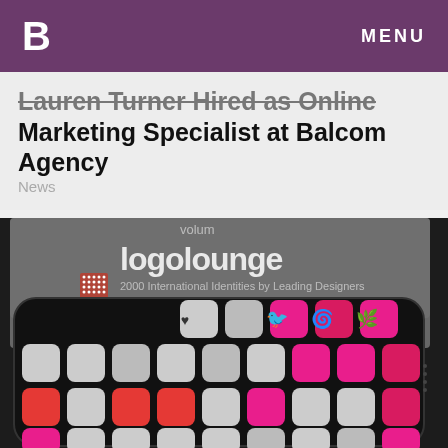B   MENU
Lauren Turner Hired as Online Marketing Specialist at Balcom Agency
News
[Figure (photo): Close-up photo of a tablet or phone displaying the LogoLounge book app with colorful app icons in pink, red/orange, and white/gray showing various logo designs. The background shows a book cover reading 'logolounge - 2000 International Identities by Leading Designers'.]